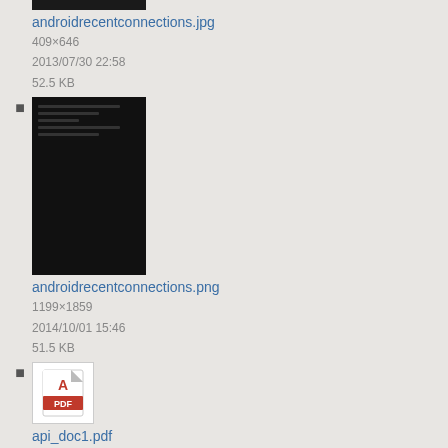androidrecentconnections.jpg
409×646
2013/07/30 22:58
52.5 KB
androidrecentconnections.png
1199×1859
2014/10/01 15:46
51.5 KB
api_doc1.pdf
2015/11/12 19:07